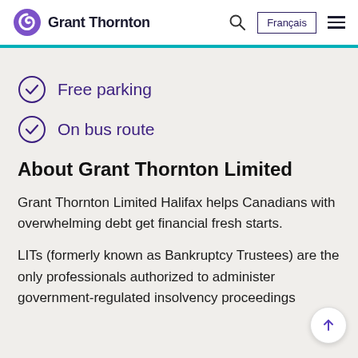Grant Thornton | Français
Free parking
On bus route
About Grant Thornton Limited
Grant Thornton Limited Halifax helps Canadians with overwhelming debt get financial fresh starts.
LITs (formerly known as Bankruptcy Trustees) are the only professionals authorized to administer government-regulated insolvency proceedings